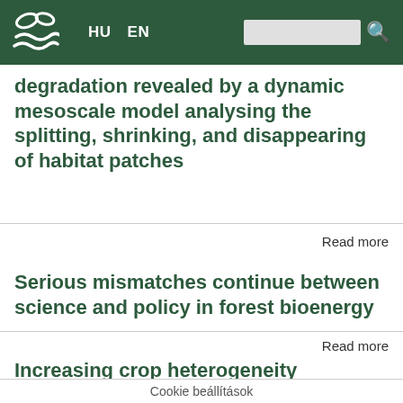HU  EN
degradation revealed by a dynamic mesoscale model analysing the splitting, shrinking, and disappearing of habitat patches
Read more
Serious mismatches continue between science and policy in forest bioenergy
Read more
Increasing crop heterogeneity enhances multitrophic diversity across agricultural regions
Cookie beállítások